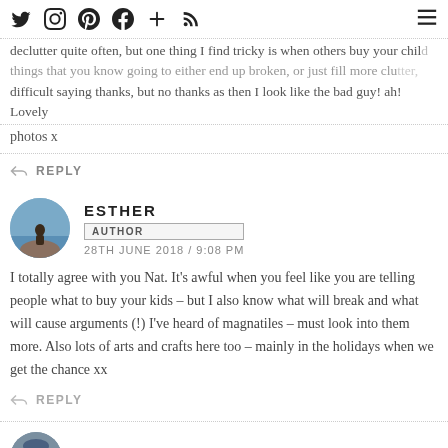Social media icon bar
declutter quite often, but one thing I find tricky is when others buy your children things that you know going to either end up broken, or just fill more clutter, difficult saying thanks, but no thanks as then I look like the bad guy! ah! Lovely photos x
↩ REPLY
ESTHER
AUTHOR
28TH JUNE 2018 / 9:08 PM
I totally agree with you Nat. It's awful when you feel like you are telling people what to buy your kids – but I also know what will break and what will cause arguments (!) I've heard of magnatiles – must look into them more. Also lots of arts and crafts here too – mainly in the holidays when we get the chance xx
↩ REPLY
AMELIA // OH LITTLE ONE SWEET